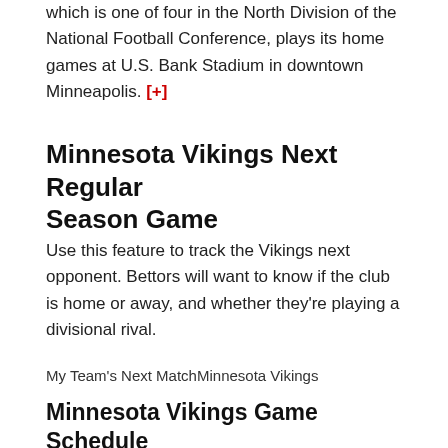which is one of four in the North Division of the National Football Conference, plays its home games at U.S. Bank Stadium in downtown Minneapolis. [+]
Minnesota Vikings Next Regular Season Game
Use this feature to track the Vikings next opponent. Bettors will want to know if the club is home or away, and whether they're playing a divisional rival.
My Team's Next MatchMinnesota Vikings
Minnesota Vikings Game Schedule
This feature charts the Vikings entire season. Divisional matches are the most important since each team in the NFC North plays a home-and-away game against their rivals.
Results / FixturesMinnesota Vikings